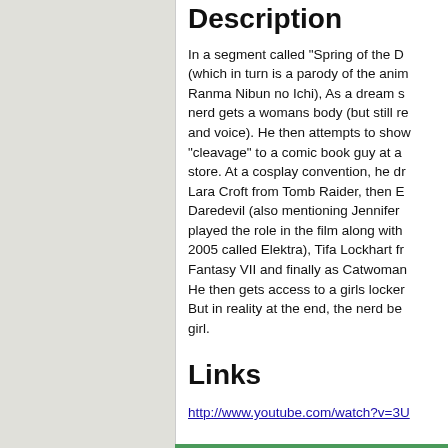Description
In a segment called "Spring of the D (which in turn is a parody of the anim Ranma Nibun no Ichi), As a dream s nerd gets a womans body (but still re and voice). He then attempts to show "cleavage" to a comic book guy at a store. At a cosplay convention, he dr Lara Croft from Tomb Raider, then E Daredevil (also mentioning Jennifer played the role in the film along with 2005 called Elektra), Tifa Lockhart fr Fantasy VII and finally as Catwoma He then gets access to a girls locker But in reality at the end, the nerd be girl.
Links
http://www.youtube.com/watch?v=3U